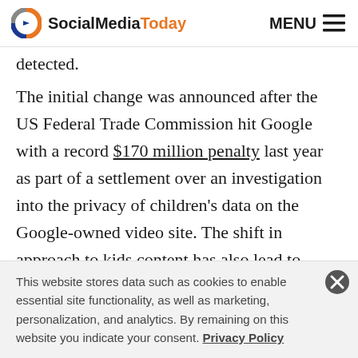SocialMediaToday MENU
detected.
The initial change was announced after the US Federal Trade Commission hit Google with a record $170 million penalty last year as part of a settlement over an investigation into the privacy of children's data on the Google-owned video site. The shift in approach to kids content has also lead to confusion among YouTube creators, who say that the new rules are not entirely clear on what qualifies as 'aimed at children' and how they can
This website stores data such as cookies to enable essential site functionality, as well as marketing, personalization, and analytics. By remaining on this website you indicate your consent. Privacy Policy